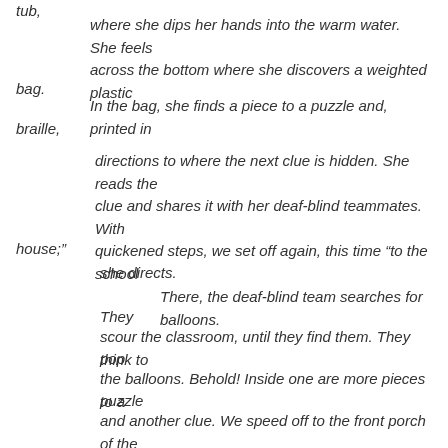tub,
where she dips her hands into the warm water.  She feels across  the bottom where she discovers a weighted plastic bag.
In the bag, she finds a piece to a puzzle and, printed in braille,
directions to where the next clue is hidden. She reads the clue and shares it with her deaf-blind teammates. With quickened steps, we set off again, this time “to the school house;”
she directs.
There, the deaf-blind team searches for balloons.  They
scour the classroom, until they find them.  They think to pop
the balloons.  Behold! Inside one are more pieces to a puzzle
and another clue.  We speed off to the front porch of the